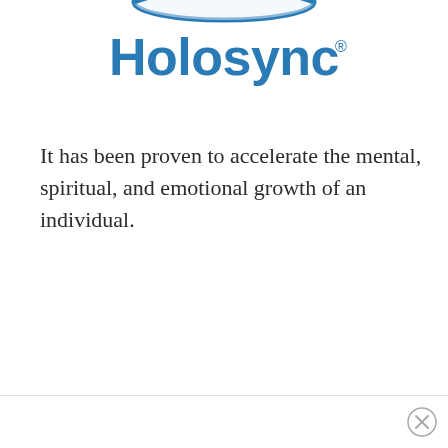[Figure (logo): Holosync logo with blue arc/wave shape at top and 'Holosync®' text in blue bold font]
It has been proven to accelerate the mental, spiritual, and emotional growth of an individual.